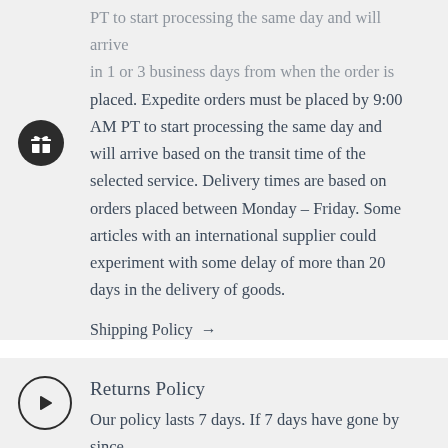PT to start processing the same day and will arrive in 1 or 3 business days from when the order is placed. Expedite orders must be placed by 9:00 AM PT to start processing the same day and will arrive based on the transit time of the selected service. Delivery times are based on orders placed between Monday – Friday. Some articles with an international supplier could experiment with some delay of more than 20 days in the delivery of goods.
Shipping Policy →
Returns Policy
Our policy lasts 7 days. If 7 days have gone by since